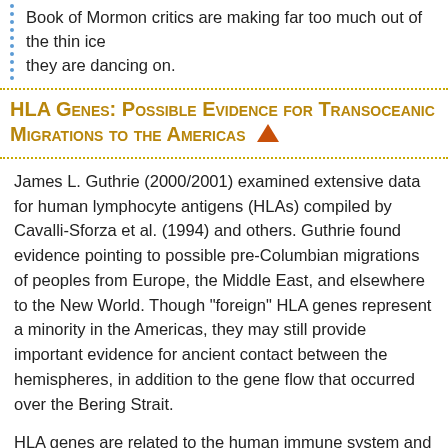Book of Mormon critics are making far too much out of the thin ice they are dancing on.
HLA Genes: Possible Evidence for Transoceanic Migrations to the Americas
James L. Guthrie (2000/2001) examined extensive data for human lymphocyte antigens (HLAs) compiled by Cavalli-Sforza et al. (1994) and others. Guthrie found evidence pointing to possible pre-Columbian migrations of peoples from Europe, the Middle East, and elsewhere to the New World. Though "foreign" HLA genes represent a minority in the Americas, they may still provide important evidence for ancient contact between the hemispheres, in addition to the gene flow that occurred over the Bering Strait.
HLA genes are related to the human immune system and code for histocompatibility antigens on the surfaces of most cells. HLA type is used to match individuals for organ donation (e.g., bone marrow transplants). Unlike mtDNA and Y chromosomes, HLA genes are not passed on only along purely maternal or paternal lines, possibly making it easier for minority genes to persist. There are many varieties of HLAs, and most people have a number of different types in their body and a given population group may have a large set of